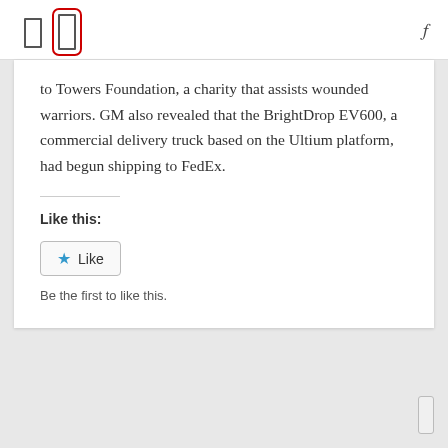[navigation icons]
to Towers Foundation, a charity that assists wounded warriors. GM also revealed that the BrightDrop EV600, a commercial delivery truck based on the Ultium platform, had begun shipping to FedEx.
Like this:
[Figure (other): Like button widget with star icon and 'Be the first to like this.' text below]
Be the first to like this.